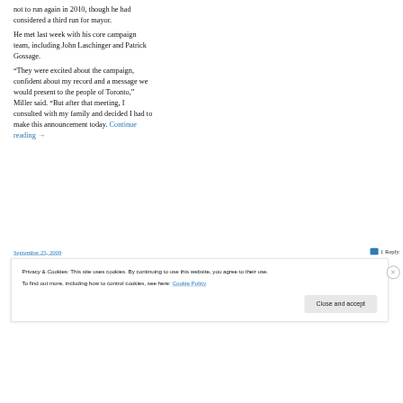not to run again in 2010, though he had considered a third run for mayor.
He met last week with his core campaign team, including John Laschinger and Patrick Gossage.
“They were excited about the campaign, confident about my record and a message we would present to the people of Toronto,” Miller said. “But after that meeting, I consulted with my family and decided I had to make this announcement today. Continue reading →
September 25, 2009
1 Reply
Privacy & Cookies: This site uses cookies. By continuing to use this website, you agree to their use.
To find out more, including how to control cookies, see here: Cookie Policy
Close and accept